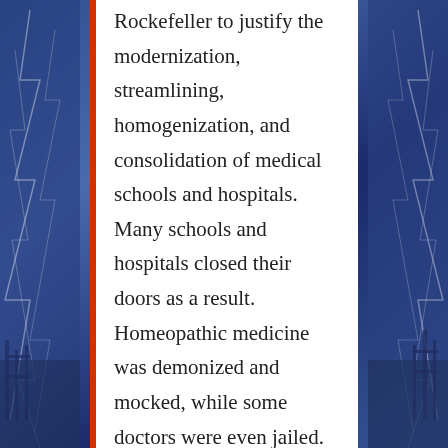Rockefeller to justify the modernization, streamlining, homogenization, and consolidation of medical schools and hospitals.  Many schools and hospitals closed their doors as a result. Homeopathic medicine was demonized and mocked, while some doctors were even jailed. The dawn of a new era